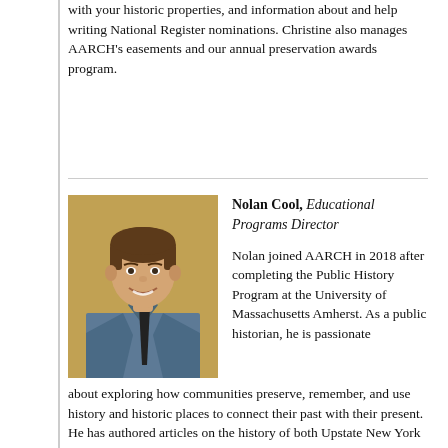with your historic properties, and information about and help writing National Register nominations. Christine also manages AARCH's easements and our annual preservation awards program.
[Figure (photo): Portrait photo of Nolan Cool, a young man with short brown hair, wearing a blue/grey plaid shirt and dark tie, smiling at the camera against a warm yellow/golden background.]
Nolan Cool, Educational Programs Director

Nolan joined AARCH in 2018 after completing the Public History Program at the University of Massachusetts Amherst. As a public historian, he is passionate about exploring how communities preserve, remember, and use history and historic places to connect their past with their present. He has authored articles on the history of both Upstate New York and Western Massachusetts. Nolan is a native of Central New York, where he grew up near Utica and graduated from Utica College.